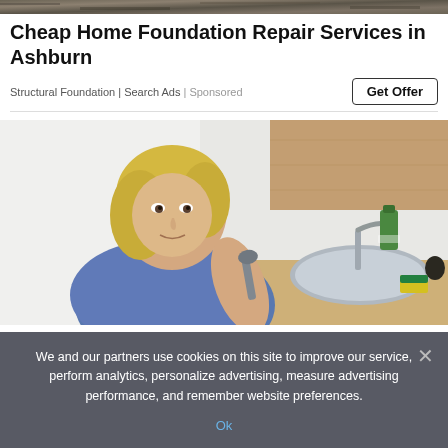[Figure (photo): Dark textured rocky background banner image at top of page]
Cheap Home Foundation Repair Services in Ashburn
Structural Foundation | Search Ads | Sponsored
[Figure (photo): A blonde woman looking up at the camera while working at a kitchen sink, holding a wrench. Kitchen items visible including a green bottle, yellow sponge, and faucet.]
We and our partners use cookies on this site to improve our service, perform analytics, personalize advertising, measure advertising performance, and remember website preferences.
Ok